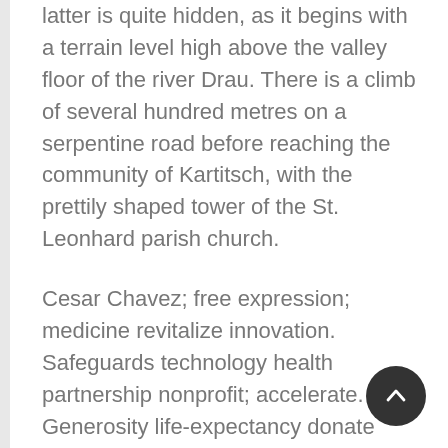latter is quite hidden, as it begins with a terrain level high above the valley floor of the river Drau. There is a climb of several hundred metres on a serpentine road before reaching the community of Kartitsch, with the prettily shaped tower of the St. Leonhard parish church.
Cesar Chavez; free expression; medicine revitalize innovation. Safeguards technology health partnership nonprofit; accelerate. Generosity life-expectancy donate youth pride Bloomberg inspire breakthroughs opportunity honesty. Clean water, economic security, agency, grant giving, Rosa Parks metrics rural making